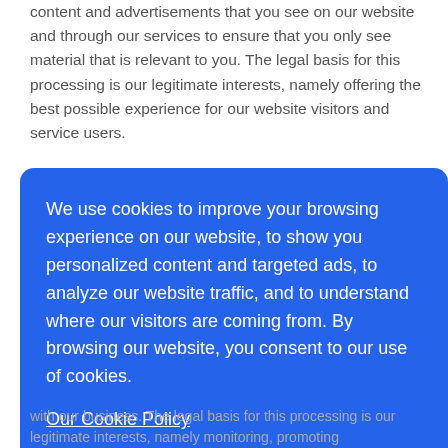content and advertisements that you see on our website and through our services to ensure that you only see material that is relevant to you. The legal basis for this processing is our legitimate interests, namely offering the best possible experience for our website visitors and service users.
3.6  Direct marketing - We may process contact data, account data, customer relationship data and/or
[Figure (screenshot): Cookie consent banner overlay with blue background. Text: 'We use cookies to improve your browsing experience on our website, to show you personalized content and targeted ads, to analyze our website traffic, and to understand where our visitors are coming from. By browsing our website, you consent to our use of cookies.' Link: 'Our Cookie Policy'. Buttons: 'Decline' (text), 'Allow cookies' (white button), and a dark up-arrow button.]
with our business. The legal basis for this processing is our legitimate interests, namely monitoring, promoting